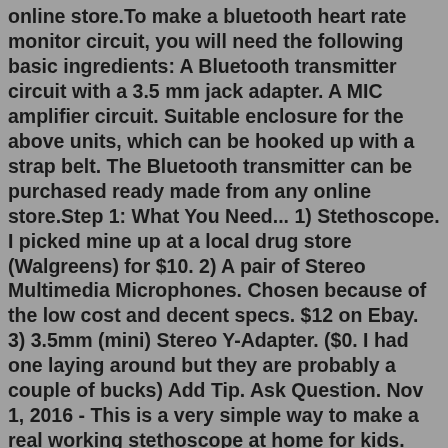online store.To make a bluetooth heart rate monitor circuit, you will need the following basic ingredients: A Bluetooth transmitter circuit with a 3.5 mm jack adapter. A MIC amplifier circuit. Suitable enclosure for the above units, which can be hooked up with a strap belt. The Bluetooth transmitter can be purchased ready made from any online store.Step 1: What You Need... 1) Stethoscope. I picked mine up at a local drug store (Walgreens) for $10. 2) A pair of Stereo Multimedia Microphones. Chosen because of the low cost and decent specs. $12 on Ebay. 3) 3.5mm (mini) Stereo Y-Adapter. ($0. I had one laying around but they are probably a couple of bucks) Add Tip. Ask Question. Nov 1, 2016 - This is a very simple way to make a real working stethoscope at home for kids. This is Simple Stethoscope, easy to make at home so instead of buying low qual... Sonic Alert Stethoscope Amplified RF Stereo TV Listening Headphones - CL7350 Opti | Amplify Your Hearing for TV, Cell Phone, Computer, Tablet + More | Hard of Hearing Sound Amplification | 2 Pack Set. 38. $9098. MRI-